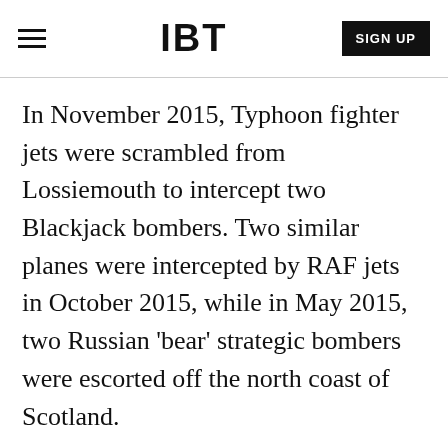IBT
In November 2015, Typhoon fighter jets were scrambled from Lossiemouth to intercept two Blackjack bombers. Two similar planes were intercepted by RAF jets in October 2015, while in May 2015, two Russian 'bear' strategic bombers were escorted off the north coast of Scotland.